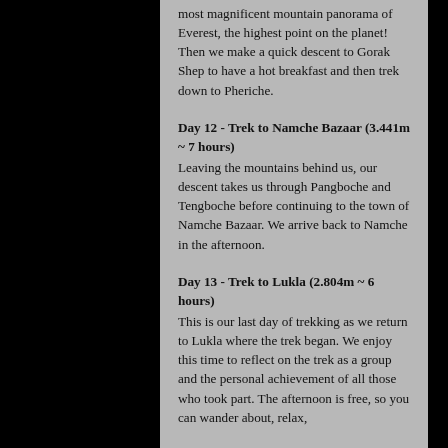most magnificent mountain panorama of Everest, the highest point on the planet! Then we make a quick descent to Gorak Shep to have a hot breakfast and then trek down to Pheriche.
Day 12 - Trek to Namche Bazaar (3.441m ~ 7 hours)
Leaving the mountains behind us, our descent takes us through Pangboche and Tengboche before continuing to the town of Namche Bazaar. We arrive back to Namche in the afternoon.
Day 13 - Trek to Lukla (2.804m ~ 6 hours)
This is our last day of trekking as we return to Lukla where the trek began. We enjoy this time to reflect on the trek as a group and the personal achievement of all those who took part. The afternoon is free, so you can wander about, relax,